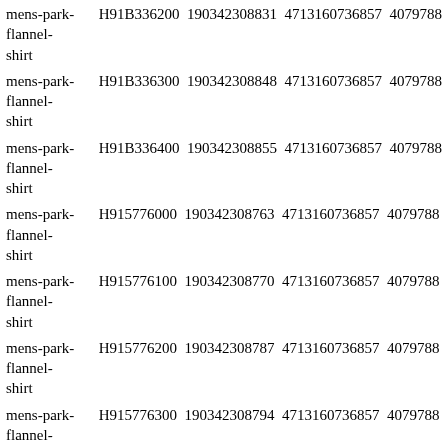| mens-park-flannel-shirt | H91B336200 | 190342308831 | 4713160736857 | 4079788 |
| mens-park-flannel-shirt | H91B336300 | 190342308848 | 4713160736857 | 4079788 |
| mens-park-flannel-shirt | H91B336400 | 190342308855 | 4713160736857 | 4079788 |
| mens-park-flannel-shirt | H915776000 | 190342308763 | 4713160736857 | 4079788 |
| mens-park-flannel-shirt | H915776100 | 190342308770 | 4713160736857 | 4079788 |
| mens-park-flannel-shirt | H915776200 | 190342308787 | 4713160736857 | 4079788 |
| mens-park-flannel-shirt | H915776300 | 190342308794 | 4713160736857 | 4079788 |
| mens-park-flannel-shirt | H915776400 | 190342308800 | 4713160736857 | 4079788 |